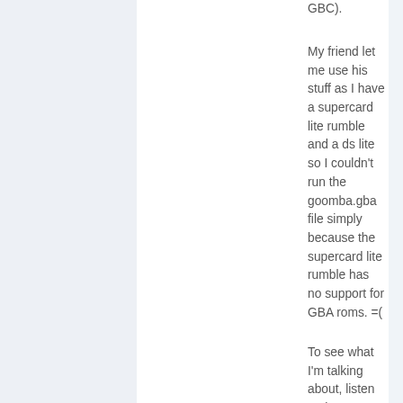GBC).
My friend let me use his stuff as I have a supercard lite rumble and a ds lite so I couldn't run the goomba.gba file simply because the supercard lite rumble has no support for GBA roms. =(
To see what I'm talking about, listen to these